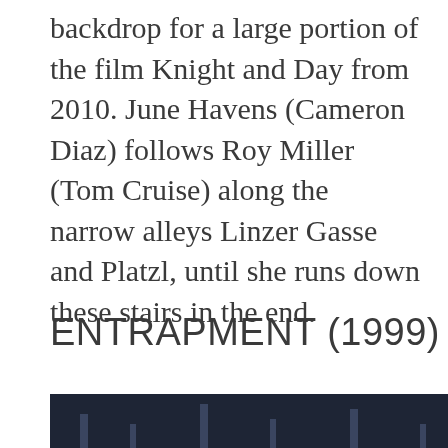backdrop for a large portion of the film Knight and Day from 2010. June Havens (Cameron Diaz) follows Roy Miller (Tom Cruise) along the narrow alleys Linzer Gasse and Platzl, until she runs down these stairs in the end.
ENTRAPMENT (1999)
[Figure (photo): Two side-by-side photos: left showing a dark industrial or basement-like interior with structures, right showing a bright modern corridor with large windows and a ceiling with lights.]